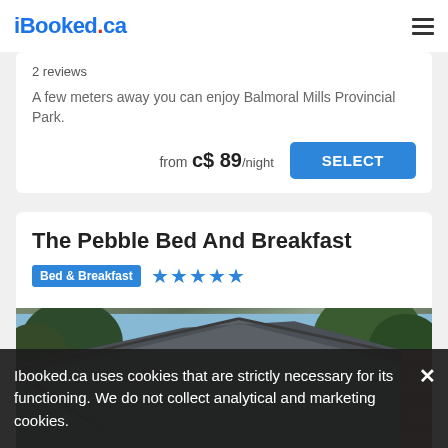iBooked.ca
2 reviews
A few meters away you can enjoy Balmoral Mills Provincial Park.
from c$ 89/night
The Pebble Bed And Breakfast
Bed & Breakfast ★★★★★
[Figure (photo): Exterior photo of The Pebble Bed And Breakfast showing roofline, siding, and trees in background]
Ibooked.ca uses cookies that are strictly necessary for its functioning. We do not collect analytical and marketing cookies.